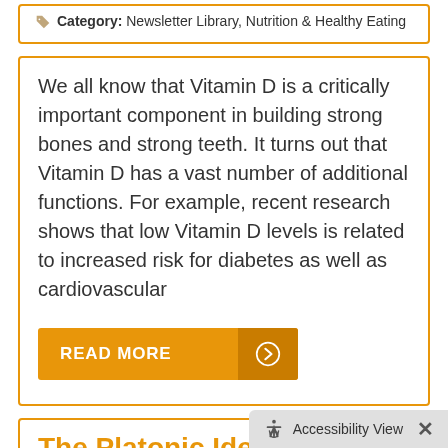Category: Newsletter Library, Nutrition & Healthy Eating
We all know that Vitamin D is a critically important component in building strong bones and strong teeth. It turns out that Vitamin D has a vast number of additional functions. For example, recent research shows that low Vitamin D levels is related to increased risk for diabetes as well as cardiovascular
[Figure (other): Orange 'READ MORE' button with arrow icon]
The Platonic Ideal
Accessibility View ×